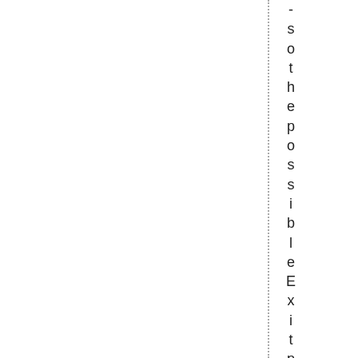- so the possible Exit points  In bet...